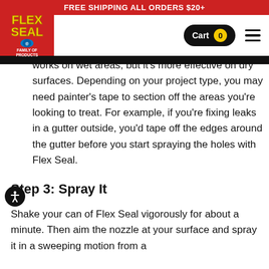FREE SHIPPING ALL ORDERS $20+
[Figure (logo): Flex Seal Family of Products logo on red background]
works on wet areas, but it’s more effective on dry surfaces. Depending on your project type, you may need painter’s tape to section off the areas you’re looking to treat. For example, if you’re fixing leaks in a gutter outside, you’d tape off the edges around the gutter before you start spraying the holes with Flex Seal.
Step 3: Spray It
Shake your can of Flex Seal vigorously for about a minute. Then aim the nozzle at your surface and spray it in a sweeping motion from a